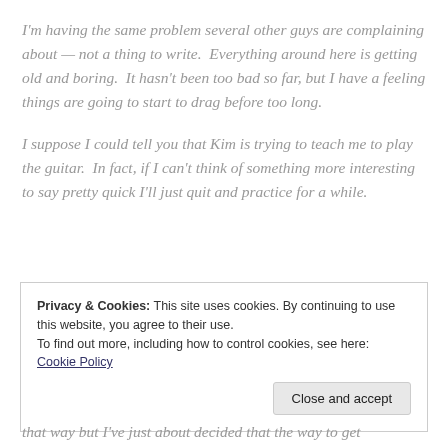I'm having the same problem several other guys are complaining about — not a thing to write.  Everything around here is getting old and boring.  It hasn't been too bad so far, but I have a feeling things are going to start to drag before too long.
I suppose I could tell you that Kim is trying to teach me to play the guitar.  In fact, if I can't think of something more interesting to say pretty quick I'll just quit and practice for a while.
Privacy & Cookies: This site uses cookies. By continuing to use this website, you agree to their use.
To find out more, including how to control cookies, see here: Cookie Policy
that way but I've just about decided that the way to get